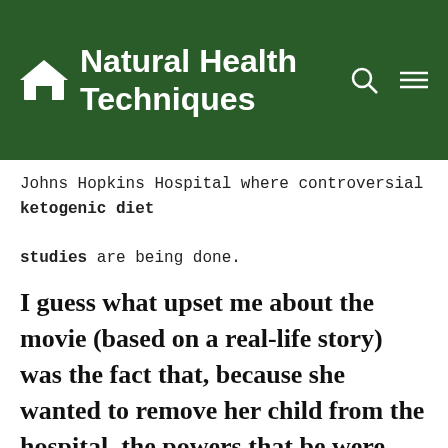Natural Health Techniques
Johns Hopkins Hospital where controversial ketogenic diet studies are being done.
I guess what upset me about the movie (based on a real-life story) was the fact that, because she wanted to remove her child from the hospital, the powers that be were trying to declare her an unfit mother and get custody of her child and remove him from her making him a ward of the state so the hospital could do experiments on him. Exasperating!